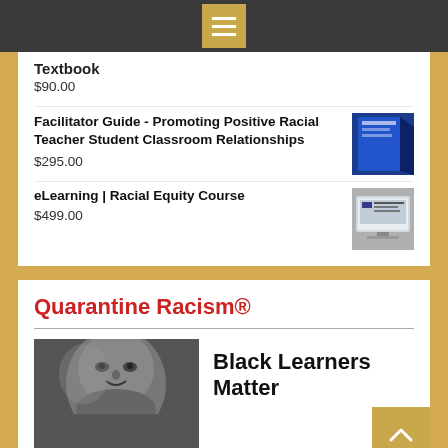Menu
Textbook
$90.00
Facilitator Guide - Promoting Positive Racial Teacher Student Classroom Relationships
$295.00
eLearning | Racial Equity Course
$499.00
Quarantine Racism®
[Figure (photo): Black and white close-up photo of a young Black child's face]
Black Learners Matter